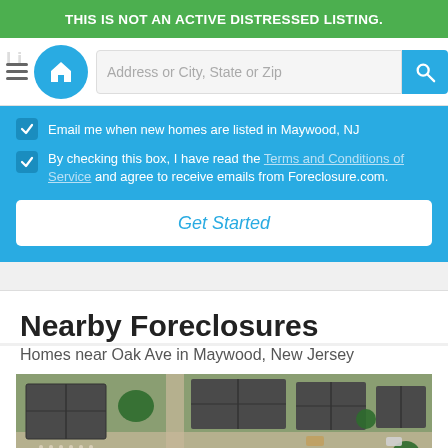THIS IS NOT AN ACTIVE DISTRESSED LISTING.
[Figure (screenshot): Website navigation bar with hamburger menu, house logo, search input field reading 'Address or City, State or Zip', and blue search button. Background shows faded text 'Single-Family'.]
Email me when new homes are listed in Maywood, NJ
By checking this box, I have read the Terms and Conditions of Service and agree to receive emails from Foreclosure.com.
Get Started
Nearby Foreclosures
Homes near Oak Ave in Maywood, New Jersey
[Figure (photo): Aerial satellite photo showing residential neighborhood with houses, dark rooftops, green lawns, driveways, and streets near Oak Ave in Maywood, New Jersey.]